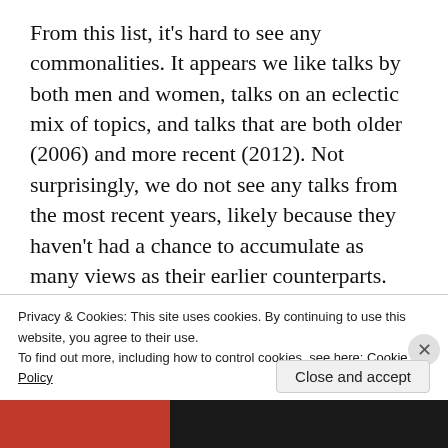From this list, it's hard to see any commonalities. It appears we like talks by both men and women, talks on an eclectic mix of topics, and talks that are both older (2006) and more recent (2012). Not surprisingly, we do not see any talks from the most recent years, likely because they haven't had a chance to accumulate as many views as their earlier counterparts.
To get a better sense about what is talked about, let's look into the transcripts of what
Privacy & Cookies: This site uses cookies. By continuing to use this website, you agree to their use.
To find out more, including how to control cookies, see here: Cookie Policy